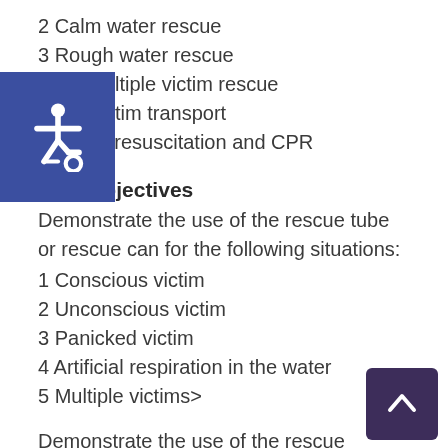2 Calm water rescue
3 Rough water rescue
4 Multiple victim rescue
5 Victim transport
6 Victim resuscitation and CPR
Skill Objectives
Demonstrate the use of the rescue tube or rescue can for the following situations:
1 Conscious victim
2 Unconscious victim
3 Panicked victim
4 Artificial respiration in the water
5 Multiple victims>
Demonstrate the use of the rescue paddleboard in the following situations:
1 Conscious victim
2 Unconscious victim